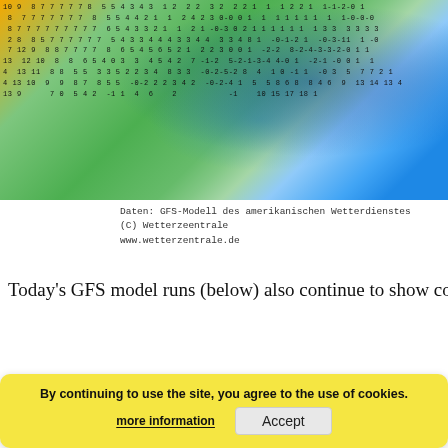[Figure (map): GFS weather model map showing temperature anomalies over Europe/Atlantic with numeric values overlaid on a color-coded map (green, blue, yellow). Blue areas indicate cold anomalies.]
Daten: GFS-Modell des amerikanischen Wetterdienstes
(C) Wetterzeentrale
www.wetterzentrale.de
Today's GFS model runs (below) also continue to show cold settin…
[Figure (map): Second GFS model run map showing temperature anomalies over Europe and Iceland (Island label visible). Color-coded map with white numeric contour labels showing cold anomalies in blue regions.]
By continuing to use the site, you agree to the use of cookies.
more information
Accept